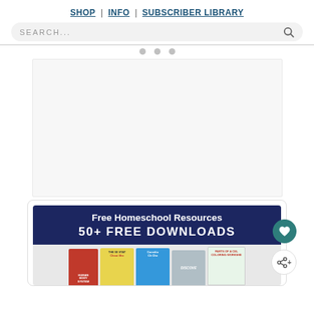SHOP | INFO | SUBSCRIBER LIBRARY
SEARCH...
[Figure (screenshot): Large advertisement placeholder area, light gray background]
[Figure (infographic): Free Homeschool Resources - 50+ FREE DOWNLOADS promotional banner with book covers including Human Body, The 50 States Cheat Sheet, Constitution Cheat Sheet, Discover, Parts of a Cell Coloring Worksheet]